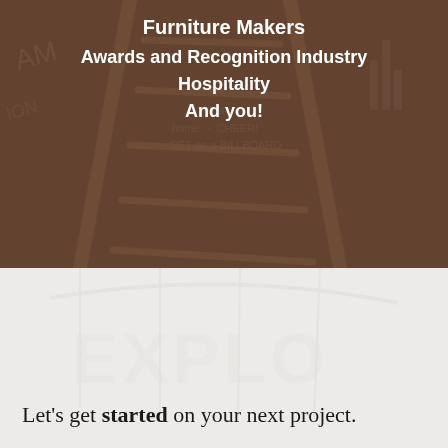[Figure (photo): Dark brown/sepia toned background showing a chalkboard with writing and a wooden ladder leaning against it, top half of page]
Furniture Makers
Awards and Recognition Industry
Hospitality
And you!
[Figure (photo): Light gray/white background showing a large building or wall with EXPLO text, bottom half of page]
Let's get started on your next project.